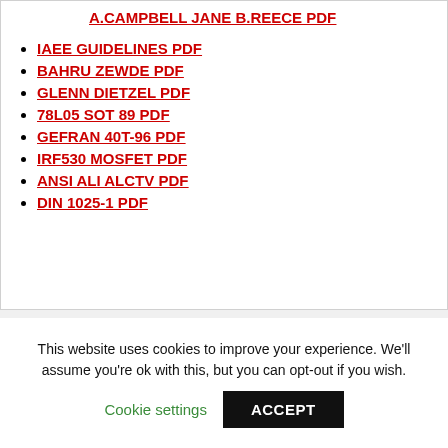A.CAMPBELL JANE B.REECE PDF
IAEE GUIDELINES PDF
BAHRU ZEWDE PDF
GLENN DIETZEL PDF
78L05 SOT 89 PDF
GEFRAN 40T-96 PDF
IRF530 MOSFET PDF
ANSI ALI ALCTV PDF
DIN 1025-1 PDF
This website uses cookies to improve your experience. We'll assume you're ok with this, but you can opt-out if you wish.
Cookie settings | ACCEPT